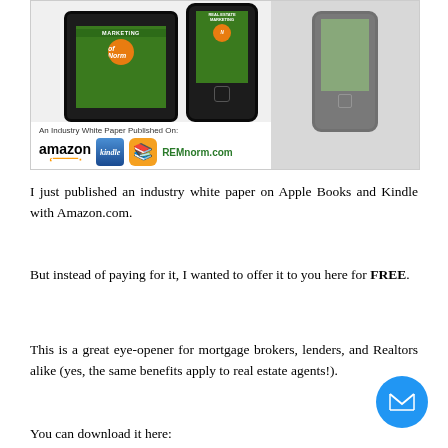[Figure (illustration): Image showing tablet and phone devices displaying a 'Real Estate Marketing' white paper cover, along with publisher logos: Amazon, Kindle, Apple Books (iBooks), and REMnorm.com. Text reads 'An Industry White Paper Published On:']
I just published an industry white paper on Apple Books and Kindle with Amazon.com.
But instead of paying for it, I wanted to offer it to you here for FREE.
This is a great eye-opener for mortgage brokers, lenders, and Realtors alike (yes, the same benefits apply to real estate agents!).
You can download it here: